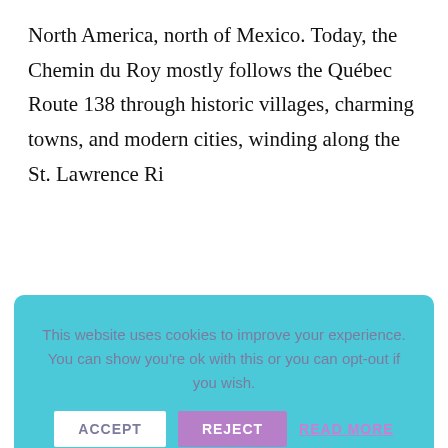North America, north of Mexico. Today, the Chemin du Roy mostly follows the Québec Route 138 through historic villages, charming towns, and modern cities, winding along the St. Lawrence Ri...
[Figure (screenshot): Cookie consent banner with light blue background. Text reads: 'This website uses cookies to improve your experience. You can show you're ok with this or you can opt-out if you wish.' Three buttons: ACCEPT (white), REJECT (purple), READ MORE (purple text link).]
We rented our vehicle at the Montréal-Trudeau Airport and set off on the Chemin du Roy/Québec Route 138. This scenic route took about five to six hours with many stops along the way to photograph the picturesque scenery.